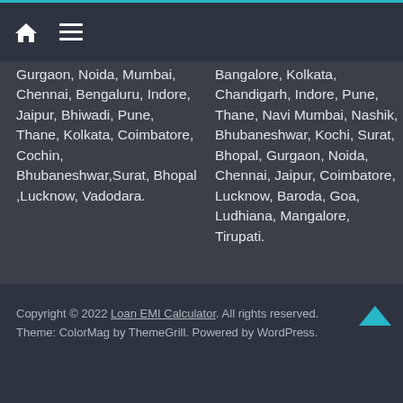Home / Menu navigation bar
Gurgaon, Noida, Mumbai, Chennai, Bengaluru, Indore, Jaipur, Bhiwadi, Pune, Thane, Kolkata, Coimbatore, Cochin, Bhubaneshwar,Surat, Bhopal ,Lucknow, Vadodara.
Bangalore, Kolkata, Chandigarh, Indore, Pune, Thane, Navi Mumbai, Nashik, Bhubaneshwar, Kochi, Surat, Bhopal, Gurgaon, Noida, Chennai, Jaipur, Coimbatore, Lucknow, Baroda, Goa, Ludhiana, Mangalore, Tirupati.
Copyright © 2022 Loan EMI Calculator. All rights reserved. Theme: ColorMag by ThemeGrill. Powered by WordPress.